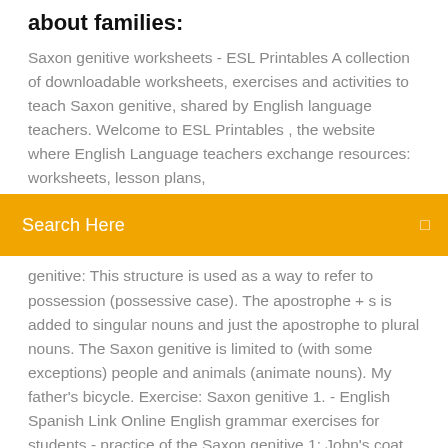about families:
Saxon genitive worksheets - ESL Printables A collection of downloadable worksheets, exercises and activities to teach Saxon genitive, shared by English language teachers. Welcome to ESL Printables , the website where English Language teachers exchange resources: worksheets, lesson plans,
[Figure (other): Orange search bar with text 'Search Here' and a small icon on the right]
genitive: This structure is used as a way to refer to possession (possessive case). The apostrophe + s is added to singular nouns and just the apostrophe to plural nouns. The Saxon genitive is limited to (with some exceptions) people and animals (animate nouns). My father's bicycle. Exercise: Saxon genitive 1. - English Spanish Link Online English grammar exercises for students - practice of the Saxon genitive 1: John's coat, Mary's car. Saxon genitive Interactive worksheets
El pescador cumbia letra